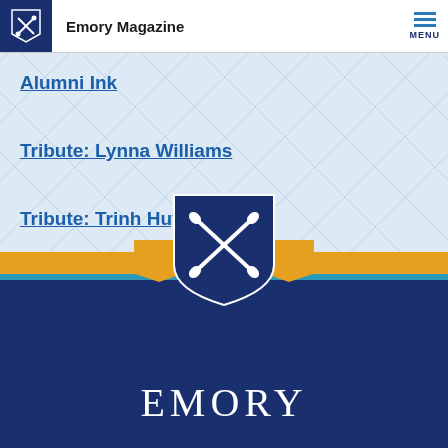Emory Magazine
Alumni Ink
Tribute: Lynna Williams
Tribute: Trinh Huynh 04L
Coda: Grady Made
[Figure (logo): Emory University shield logo with crossed torches on a navy blue background, with gold ribbon accents, and EMORY text below in white serif font on navy background]